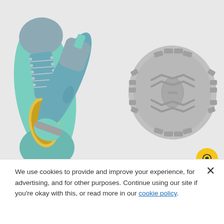[Figure (photo): Two teal/mint and gray trail sneakers shown from top view and side view on the left, and the gray rubber outsole of the shoe shown on the right, all on a light gray background.]
Streamlined, flexible and light, this sneaker holds its ground with a non-marking rubber outsole and multi-directional traction. Quick-dry mesh makes it breathable, and the lacing system keeps it secure.
We use cookies to provide and improve your experience, for advertising, and for other purposes. Continue using our site if you're okay with this, or read more in our cookie policy.